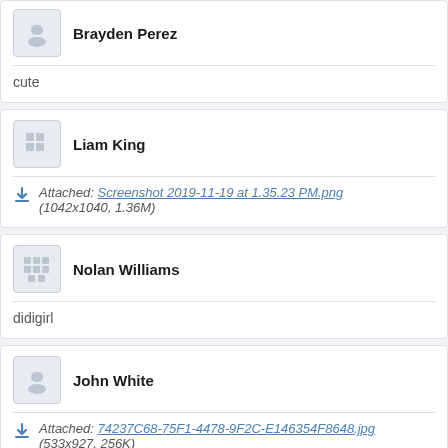Brayden Perez
cute
Liam King
Attached: Screenshot 2019-11-19 at 1.35.23 PM.png (1042x1040, 1.36M)
Nolan Williams
didigirl
John White
Attached: 74237C68-75F1-4478-9F2C-E146354F8648.jpg (533x927, 256K)
Charles Ortiz